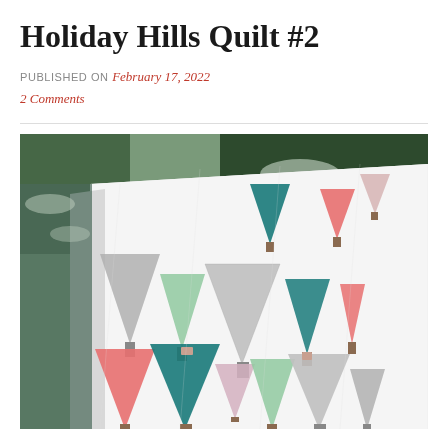Holiday Hills Quilt #2
PUBLISHED ON February 17, 2022
2 Comments
[Figure (photo): A quilt with colorful Christmas tree pattern (teal, pink/coral, mint green, gray, and floral fabric triangles on white background) draped outdoors in front of snow-covered evergreen trees.]